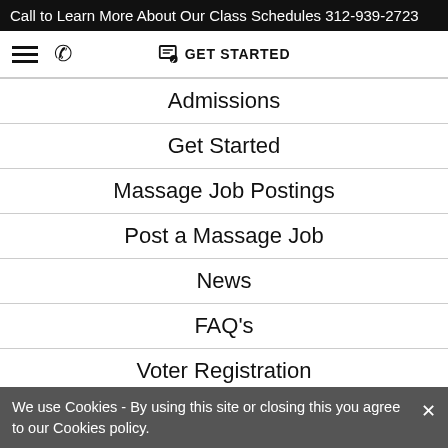Call to Learn More About Our Class Schedules 312-939-2723
GET STARTED
Admissions
Get Started
Massage Job Postings
Post a Massage Job
News
FAQ's
Voter Registration
Constitution Day
Emergency Financial Aid Grants for Students (HEERF I, II, & III)
We use Cookies - By using this site or closing this you agree to our Cookies policy.